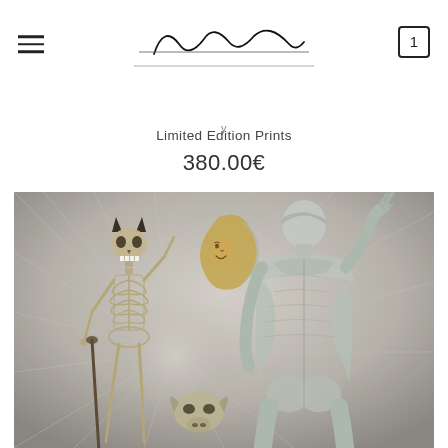Navigation header with hamburger menu, artist signature logo, and cart icon
Limited Edition Prints
380.00€
[Figure (illustration): Surrealist artwork showing a skeleton with devil horns holding a cane on the left, an anatomical muscle-man figure viewed from behind on the right, a crescent moon with a face in the upper center, set against a textured grey background with radiating rays. Sepia and silver tones throughout.]